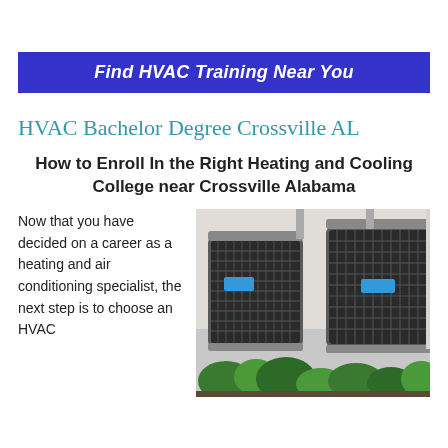[Figure (other): Blue banner button with text 'Find HVAC Training Near You' in white bold italic]
HVAC Bachelor Degree Crossville AL
How to Enroll In the Right Heating and Cooling College near Crossville Alabama
Now that you have decided on a career as a heating and air conditioning specialist, the next step is to choose an HVAC
[Figure (photo): Two HVAC air conditioning units outside a building, surrounded by plants and shrubbery]